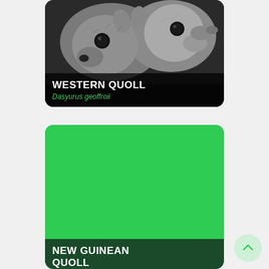[Figure (photo): Close-up photo of two Western Quoll animals (small grey marsupials) looking at camera, dark background, with a label overlay showing species name]
WESTERN QUOLL
Dasyurus geoffroii
[Figure (photo): Card with solid green background (no photo loaded) for New Guinean Quoll species entry]
NEW GUINEAN QUOLL